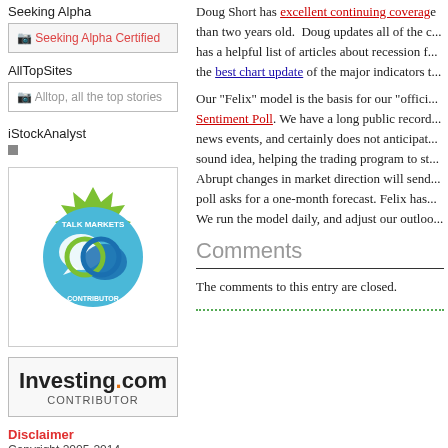Seeking Alpha
[Figure (logo): Seeking Alpha Certified badge placeholder image]
AllTopSites
[Figure (logo): Alltop, all the top stories badge placeholder image]
iStockAnalyst
[Figure (logo): Small gray square icon for iStockAnalyst]
[Figure (logo): Talk Markets Contributor badge — circular green/blue seal]
[Figure (logo): Investing.com Contributor badge]
Disclaimer
Copyright 2005-2014
Doug Short has excellent continuing coverage... than two years old. Doug updates all of the c... has a helpful list of articles about recession f... the best chart update of the major indicators t...
Our "Felix" model is the basis for our "offici... Sentiment Poll. We have a long public record... news events, and certainly does not anticipat... sound idea, helping the trading program to st... Abrupt changes in market direction will send... poll asks for a one-month forecast. Felix has... We run the model daily, and adjust our outloo...
Comments
The comments to this entry are closed.